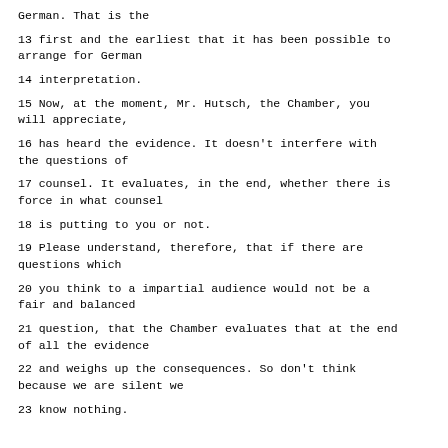German. That is the
13 first and the earliest that it has been possible to arrange for German
14 interpretation.
15 Now, at the moment, Mr. Hutsch, the Chamber, you will appreciate,
16 has heard the evidence. It doesn't interfere with the questions of
17 counsel. It evaluates, in the end, whether there is force in what counsel
18 is putting to you or not.
19 Please understand, therefore, that if there are questions which
20 you think to a impartial audience would not be a fair and balanced
21 question, that the Chamber evaluates that at the end of all the evidence
22 and weighs up the consequences. So don't think because we are silent we
23 know nothing.